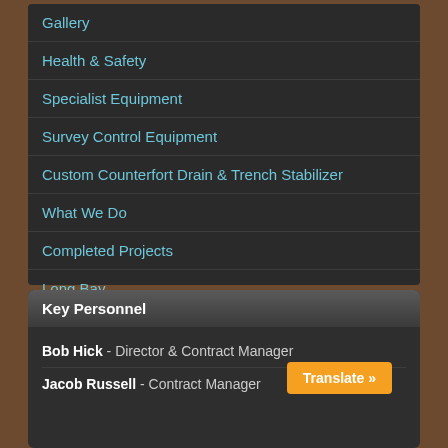Gallery
Health & Safety
Specialist Equipment
Survey Control Equipment
Custom Counterfort Drain & Trench Stabilizer
What We Do
Completed Projects
Long Bay
Industrial Site Development
Life-style Town Sub-divisions
Current projects
Key Personnel
Bob Hick - Director & Contract Manager
Jacob Russell - Contract Manager